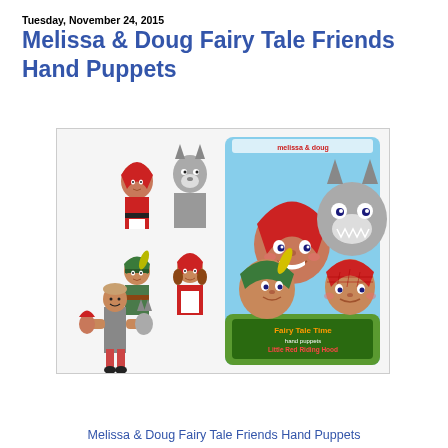Tuesday, November 24, 2015
Melissa & Doug Fairy Tale Friends Hand Puppets
[Figure (photo): Product photo showing Melissa & Doug Fairy Tale Friends Hand Puppets set. Left side shows four individual hand puppets (Little Red Riding Hood, Big Bad Wolf, a boy in green outfit, and a girl in red dress). Below them is a young boy wearing the puppets on both hands. Right side shows the 'Fairy Tale Time hand puppets Little Red Riding Hood' boxed set cover featuring close-up of the four puppet characters.]
Melissa & Doug Fairy Tale Friends Hand Puppets